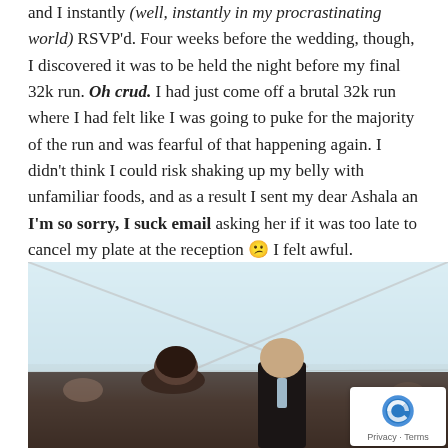and I instantly (well, instantly in my procrastinating world) RSVP'd. Four weeks before the wedding, though, I discovered it was to be held the night before my final 32k run. Oh crud. I had just come off a brutal 32k run where I had felt like I was going to puke for the majority of the run and was fearful of that happening again. I didn't think I could risk shaking up my belly with unfamiliar foods, and as a result I sent my dear Ashala an I'm so sorry, I suck email asking her if it was too late to cancel my plate at the reception 😕 I felt awful.
[Figure (photo): Wedding photo showing a couple under a white tent. A woman with dark hair and a man in a dark suit with a light tie are laughing/smiling together. Other guests visible in background.]